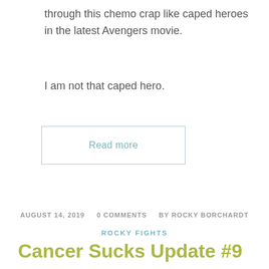through this chemo crap like caped heroes in the latest Avengers movie.
I am not that caped hero.
Read more
AUGUST 14, 2019   0 COMMENTS   BY ROCKY BORCHARDT
ROCKY FIGHTS
Cancer Sucks Update #9